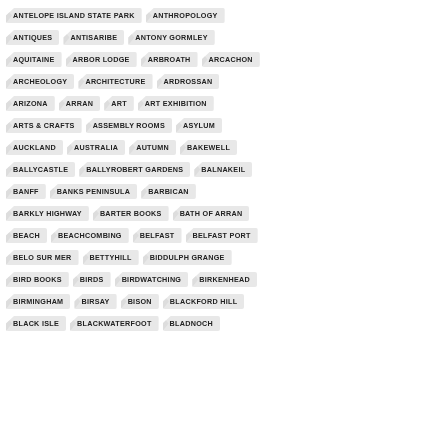ANTELOPE ISLAND STATE PARK
ANTHROPOLOGY
ANTIQUES
ANTISARIBE
ANTONY GORMLEY
AQUITAINE
ARBOR LODGE
ARBROATH
ARCACHON
ARCHEOLOGY
ARCHITECTURE
ARDROSSAN
ARIZONA
ARRAN
ART
ART EXHIBITION
ARTS & CRAFTS
ASSEMBLY ROOMS
ASYLUM
AUCKLAND
AUSTRALIA
AUTUMN
BAKEWELL
BALLYCASTLE
BALLYROBERT GARDENS
BALNAKEIL
BANFF
BANKS PENINSULA
BARBICAN
BARKLY HIGHWAY
BARTER BOOKS
BATH OF ARRAN
BEACH
BEACHCOMBING
BELFAST
BELFAST PORT
BELO SUR MER
BETTYHILL
BIDDULPH GRANGE
BIRD BOOKS
BIRDS
BIRDWATCHING
BIRKENHEAD
BIRMINGHAM
BIRSAY
BISON
BLACKFORD HILL
BLACK ISLE
BLACKWATERFOOT
BLADNOCH